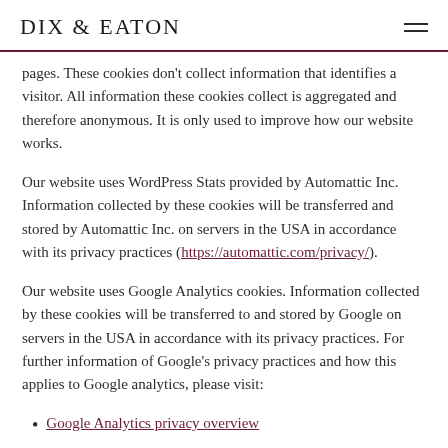DIX & EATON
pages. These cookies don't collect information that identifies a visitor. All information these cookies collect is aggregated and therefore anonymous. It is only used to improve how our website works.
Our website uses WordPress Stats provided by Automattic Inc. Information collected by these cookies will be transferred and stored by Automattic Inc. on servers in the USA in accordance with its privacy practices (https://automattic.com/privacy/).
Our website uses Google Analytics cookies. Information collected by these cookies will be transferred to and stored by Google on servers in the USA in accordance with its privacy practices. For further information of Google's privacy practices and how this applies to Google analytics, please visit:
Google Analytics privacy overview